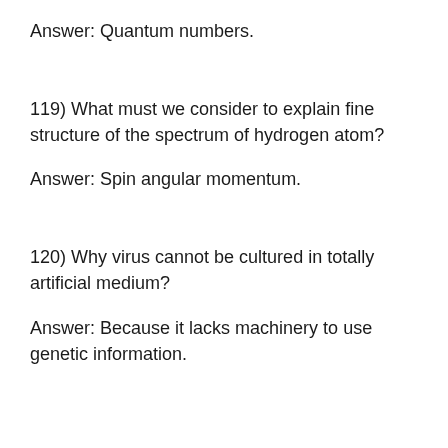Answer: Quantum numbers.
119) What must we consider to explain fine structure of the spectrum of hydrogen atom?
Answer: Spin angular momentum.
120) Why virus cannot be cultured in totally artificial medium?
Answer: Because it lacks machinery to use genetic information.